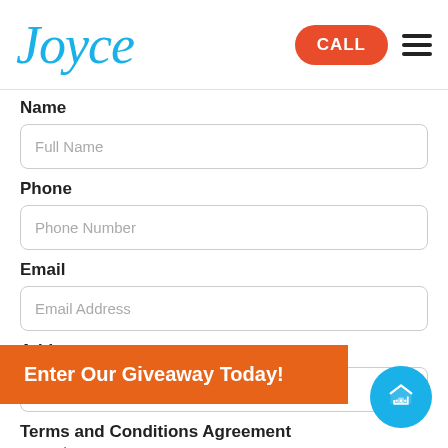[Figure (logo): Joyce company logo in blue italic script font]
CALL
Name
Full Name
Phone
Phone Number
Email
Email Address
Address
Address
Terms and Conditions Agreement
ree to the terms conditions.
Enter Our Giveaway Today!